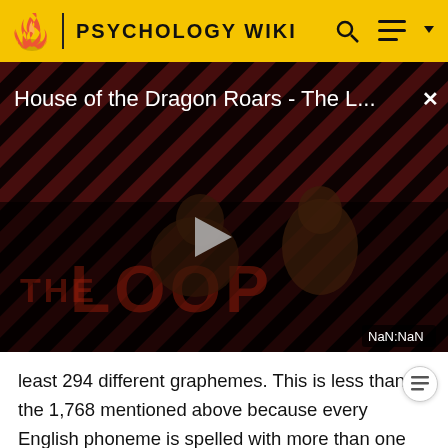PSYCHOLOGY WIKI
[Figure (screenshot): Video thumbnail for 'House of the Dragon Roars - The L...' with a play button in the center, diagonal red/black stripe pattern background, 'THE LOOP' text watermark, two silhouetted figures, and a NaN:NaN duration indicator.]
least 294 different graphemes. This is less than the 1,768 mentioned above because every English phoneme is spelled with more than one grapheme. The number of spellings of the phonemes varies from at least four (for the TH phoneme in words such at this) to at least 60